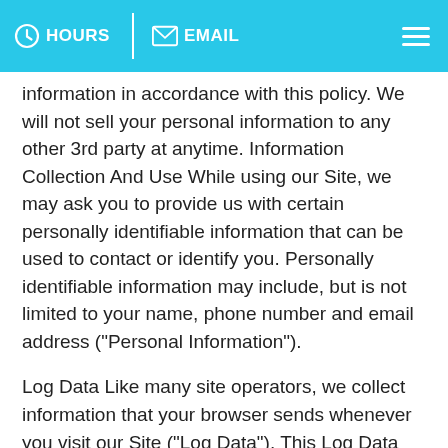HOURS   EMAIL
information in accordance with this policy. We will not sell your personal information to any other 3rd party at anytime. Information Collection And Use While using our Site, we may ask you to provide us with certain personally identifiable information that can be used to contact or identify you. Personally identifiable information may include, but is not limited to your name, phone number and email address ("Personal Information").
Log Data Like many site operators, we collect information that your browser sends whenever you visit our Site ("Log Data"). This Log Data may include information such as your computer's Internet Protocol ("IP") address, browser type, browser version, the pages of our Site that you visit, the time and date of your visit, the time spent on those pages and other statistics. In addition, we may use third party services such as Google Analytics that collect, monitor and analyze this ... The Log Data section is for businesses that use analytics or tracking services in websites or apps, like Google Analytics.
Cookies are files with small amount of data, which may include